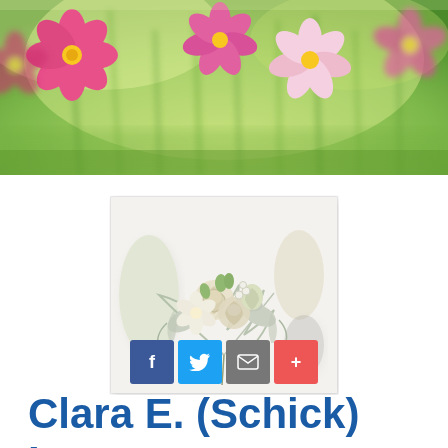[Figure (photo): Colorful wildflowers banner image with pink, magenta, and white cosmos flowers against green foliage background]
[Figure (photo): White and cream wedding bouquet with roses, greenery, and silver foliage on white background]
[Figure (infographic): Social sharing buttons: Facebook (f), Twitter bird, Email envelope, and Plus (+) icons]
Clara E. (Schick) Lawrence